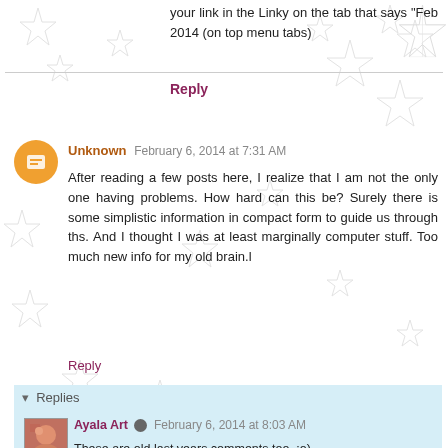your link in the Linky on the tab that says "Feb 2014 (on top menu tabs)
Reply
Unknown February 6, 2014 at 7:31 AM
After reading a few posts here, I realize that I am not the only one having problems. How hard can this be? Surely there is some simplistic information in compact form to guide us through ths. And I thought I was at least marginally computer stuff. Too much new info for my old brain.l
Reply
Replies
Ayala Art February 6, 2014 at 8:03 AM
These are old last years comments too. :o) Hhmmm I thought it was simple information: